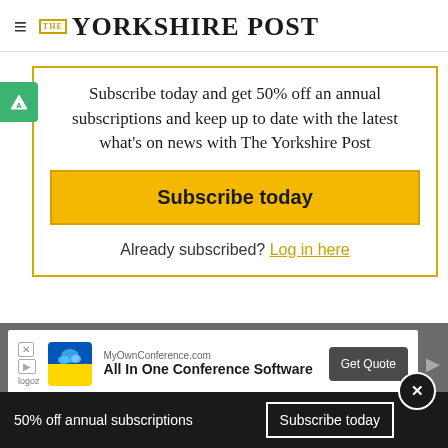THE YORKSHIRE POST
Subscribe today and get 50% off an annual subscriptions and keep up to date with the latest what's on news with The Yorkshire Post
Subscribe today
Already subscribed? Log in here
[Figure (screenshot): Advertisement banner: MyOwnConference.com - All In One Conference Software with Get Quote button]
50% off annual subscriptions  Subscribe today